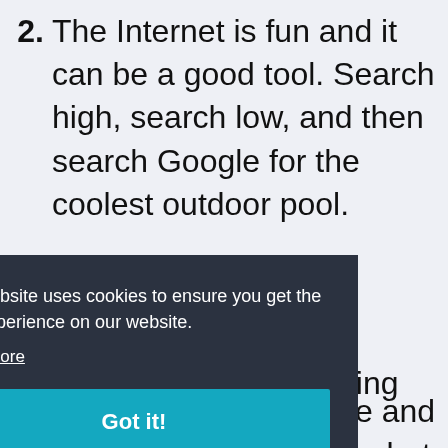2. The Internet is fun and it can be a good tool. Search high, search low, and then search Google for the coolest outdoor pool.
3. You know who you are and you know what you do, but all I do. I'm not talking about
This website uses cookies to ensure you get the best experience on our website.
Learn more
Got it!